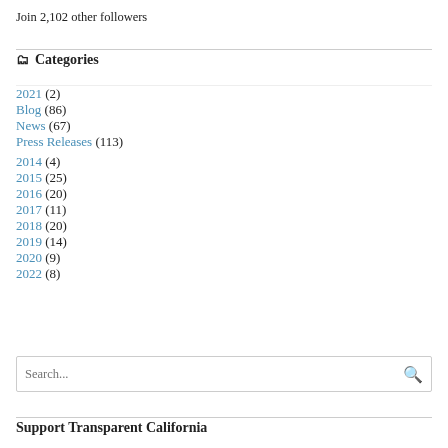Join 2,102 other followers
Categories
2021 (2)
Blog (86)
News (67)
Press Releases (113)
2014 (4)
2015 (25)
2016 (20)
2017 (11)
2018 (20)
2019 (14)
2020 (9)
2022 (8)
Search...
Support Transparent California